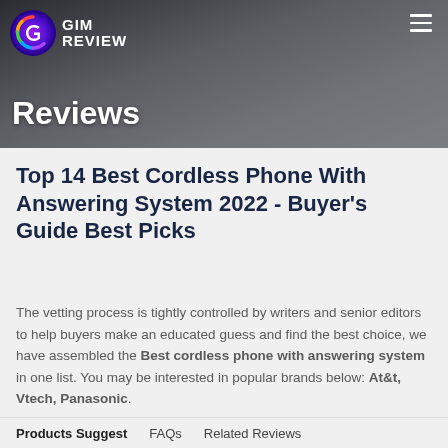[Figure (photo): Website header banner with holiday/Christmas decoration background photo, GIM Review logo top left, hamburger menu top right, 'Reviews' text overlay bottom left]
Top 14 Best Cordless Phone With Answering System 2022 - Buyer's Guide Best Picks
The vetting process is tightly controlled by writers and senior editors to help buyers make an educated guess and find the best choice, we have assembled the Best cordless phone with answering system in one list. You may be interested in popular brands below: At&t, Vtech, Panasonic.
Products Suggest    FAQs    Related Reviews